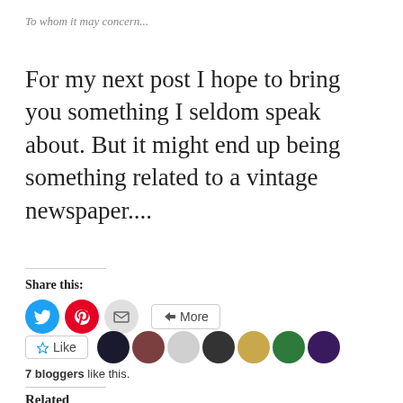To whom it may concern...
For my next post I hope to bring you something I seldom speak about. But it might end up being something related to a vintage newspaper....
Share this:
[Figure (screenshot): Social share buttons: Twitter (blue circle), Pinterest (red circle), Email (gray circle), More button]
[Figure (screenshot): Like button with star icon, followed by 7 blogger avatar thumbnails]
7 bloggers like this.
Related